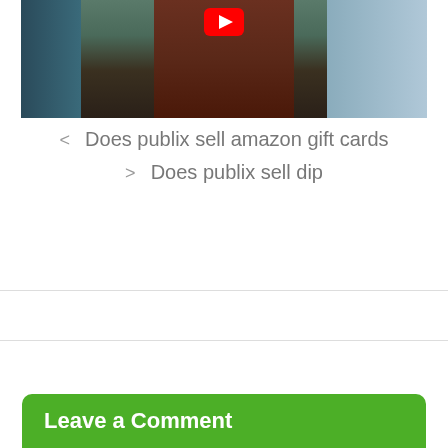[Figure (photo): A person in a brown/maroon apron standing in a store aisle with product shelves on both sides, with a YouTube play button overlay in the upper center.]
< Does publix sell amazon gift cards
> Does publix sell dip
Leave a Comment